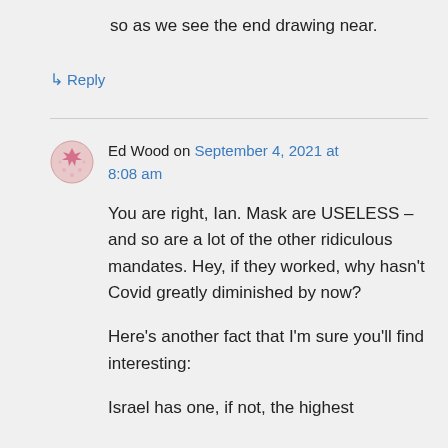so as we see the end drawing near.
↳ Reply
Ed Wood on September 4, 2021 at 8:08 am
You are right, Ian. Mask are USELESS – and so are a lot of the other ridiculous mandates. Hey, if they worked, why hasn't Covid greatly diminished by now?
Here's another fact that I'm sure you'll find interesting:
Israel has one, if not, the highest